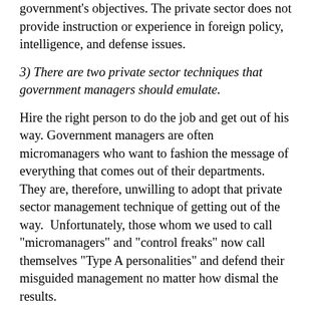government's objectives.  The private sector does not provide instruction or experience in foreign policy, intelligence, and defense issues.
3) There are two private sector techniques that government managers should emulate.
Hire the right person to do the job and get out of his way. Government managers are often micromanagers who want to fashion the message of everything that comes out of their departments. They are, therefore, unwilling to adopt that private sector management technique of getting out of the way.  Unfortunately, those whom we used to call "micromanagers" and "control freaks" now call themselves "Type A personalities" and defend their misguided management no matter how dismal the results.
Successful private sector firms boost efficiency and cut costs by flattening management structures. Establishment professionals value the "worker bees" and understand that, within the hive, there must be more worker bees than drones.